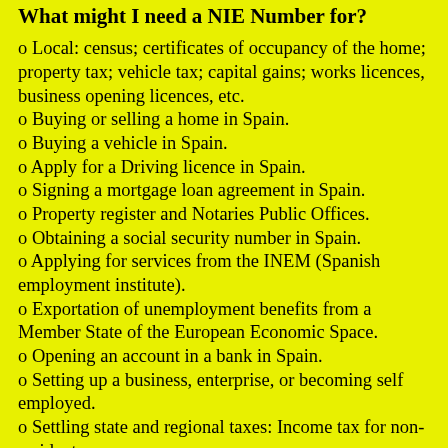What might I need a NIE Number for?
o Local: census; certificates of occupancy of the home; property tax; vehicle tax; capital gains; works licences, business opening licences, etc.
o Buying or selling a home in Spain.
o Buying a vehicle in Spain.
o Apply for a Driving licence in Spain.
o Signing a mortgage loan agreement in Spain.
o Property register and Notaries Public Offices.
o Obtaining a social security number in Spain.
o Applying for services from the INEM (Spanish employment institute).
o Exportation of unemployment benefits from a Member State of the European Economic Space.
o Opening an account in a bank in Spain.
o Setting up a business, enterprise, or becoming self employed.
o Settling state and regional taxes: Income tax for non-resident.